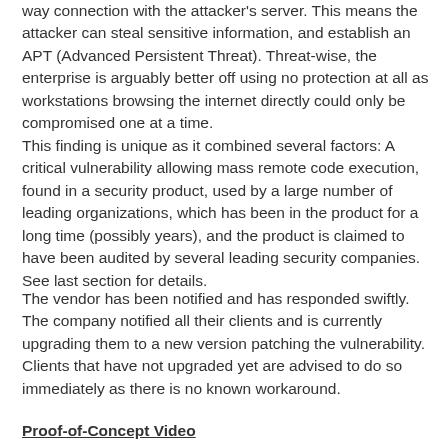way connection with the attacker's server. This means the attacker can steal sensitive information, and establish an APT (Advanced Persistent Threat). Threat-wise, the enterprise is arguably better off using no protection at all as workstations browsing the internet directly could only be compromised one at a time.
This finding is unique as it combined several factors: A critical vulnerability allowing mass remote code execution, found in a security product, used by a large number of leading organizations, which has been in the product for a long time (possibly years), and the product is claimed to have been audited by several leading security companies. See last section for details.
The vendor has been notified and has responded swiftly. The company notified all their clients and is currently upgrading them to a new version patching the vulnerability. Clients that have not upgraded yet are advised to do so immediately as there is no known workaround.
Proof-of-Concept Video